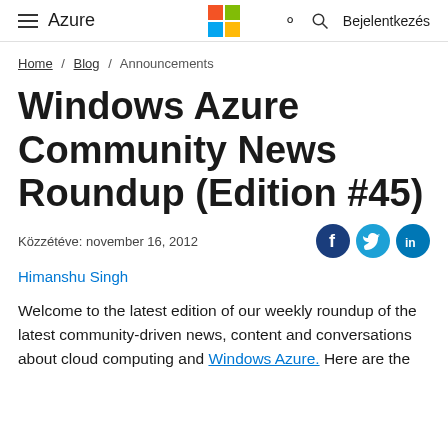≡ Azure  [Microsoft Logo]  🔍  Bejelentkezés
Home / Blog / Announcements
Windows Azure Community News Roundup (Edition #45)
Közzétéve: november 16, 2012
Himanshu Singh
Welcome to the latest edition of our weekly roundup of the latest community-driven news, content and conversations about cloud computing and Windows Azure. Here are the